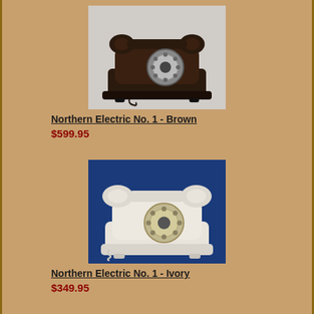[Figure (photo): Photograph of a brown vintage rotary desk telephone (Northern Electric No. 1) against a light grey background]
Northern Electric No. 1 - Brown
$599.95
[Figure (photo): Photograph of an ivory/white vintage rotary desk telephone (Northern Electric No. 1) against a dark blue background]
Northern Electric No. 1 - Ivory
$349.95